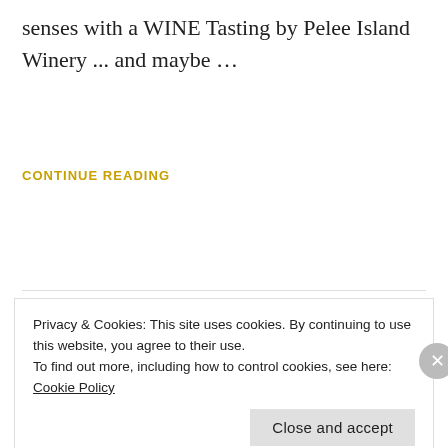senses with a WINE Tasting by Pelee Island Winery ... and maybe …
CONTINUE READING
JULY 3, 2015  |  MOTHER SHIP RETREATS
New Years in NICARAGUA
Mother Ship Wild and Wellness Retreats
Privacy & Cookies: This site uses cookies. By continuing to use this website, you agree to their use.
To find out more, including how to control cookies, see here: Cookie Policy
Close and accept